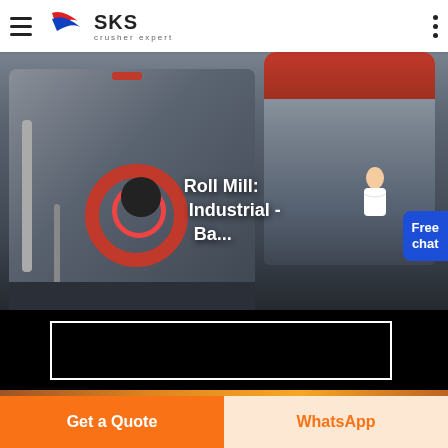SKS crusher expert
[Figure (photo): Industrial crusher/mill machinery (cone crusher and roll mill equipment) in a factory setting, with large grey metal structures, red accent components, and black belt drive. Text overlay reads 'Roll Mill: Industrial - Ba...' A blue 'Free chat' button and agent figure appear on the right.]
[Figure (photo): Partial view of industrial machinery at the bottom of the page, orange/brown tones.]
Get a Quote
WhatsApp